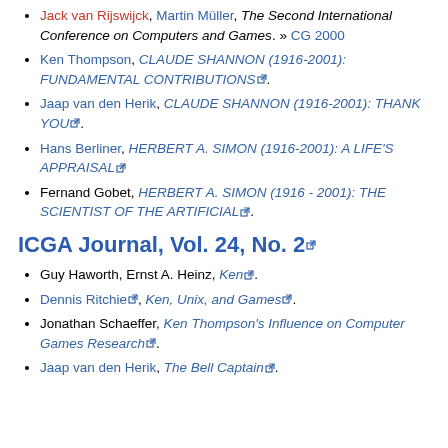Ulf Lorenz, The 10th International Paderborn Computer-Chess Championship. » IPCCC 2001
Jack van Rijswijck, Martin Müller, The Second International Conference on Computers and Games. » CG 2000
Ken Thompson, CLAUDE SHANNON (1916-2001): FUNDAMENTAL CONTRIBUTIONS.
Jaap van den Herik, CLAUDE SHANNON (1916-2001): THANK YOU.
Hans Berliner, HERBERT A. SIMON (1916-2001): A LIFE'S APPRAISAL
Fernand Gobet, HERBERT A. SIMON (1916 - 2001): THE SCIENTIST OF THE ARTIFICIAL.
ICGA Journal, Vol. 24, No. 2
Guy Haworth, Ernst A. Heinz, Ken.
Dennis Ritchie, Ken, Unix, and Games.
Jonathan Schaeffer, Ken Thompson's Influence on Computer Games Research.
Jaap van den Herik, The Bell Captain.